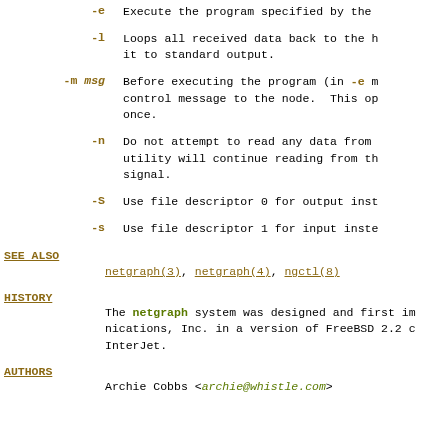-e   Execute the program specified by the
-l   Loops all received data back to the h it to standard output.
-m msg   Before executing the program (in -e m control message to the node.  This op once.
-n   Do not attempt to read any data from utility will continue reading from th signal.
-S   Use file descriptor 0 for output inst
-s   Use file descriptor 1 for input inste
SEE ALSO
netgraph(3), netgraph(4), ngctl(8)
HISTORY
The netgraph system was designed and first im nications, Inc. in a version of FreeBSD 2.2 c InterJet.
AUTHORS
Archie Cobbs <archie@whistle.com>